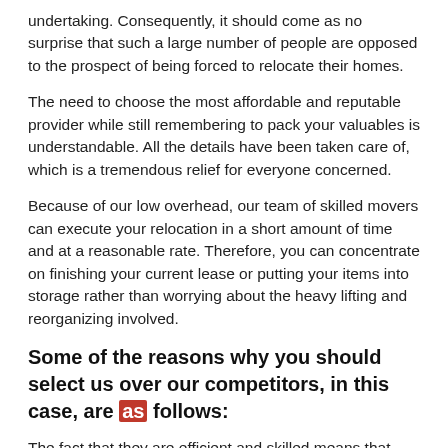undertaking. Consequently, it should come as no surprise that such a large number of people are opposed to the prospect of being forced to relocate their homes.
The need to choose the most affordable and reputable provider while still remembering to pack your valuables is understandable. All the details have been taken care of, which is a tremendous relief for everyone concerned.
Because of our low overhead, our team of skilled movers can execute your relocation in a short amount of time and at a reasonable rate. Therefore, you can concentrate on finishing your current lease or putting your items into storage rather than worrying about the heavy lifting and reorganizing involved.
Some of the reasons why you should select us over our competitors, in this case, are as follows:
The fact that they are efficient and skilled means that they will complete the moving operation in a relatively short